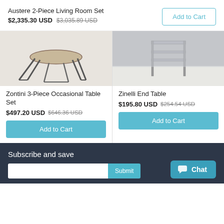Austere 2-Piece Living Room Set
$2,335.30 USD  $3,035.89 USD
Add to Cart
[Figure (photo): Photo of Zontini 3-Piece Occasional Table Set — round table with stools in brown/tan tones]
Zontini 3-Piece Occasional Table Set
$497.20 USD  $646.36 USD
Add to Cart
[Figure (photo): Photo of Zinelli End Table — chrome/glass frame end table on white rug]
Zinelli End Table
$195.80 USD  $254.54 USD
Add to Cart
Subscribe and save
Chat